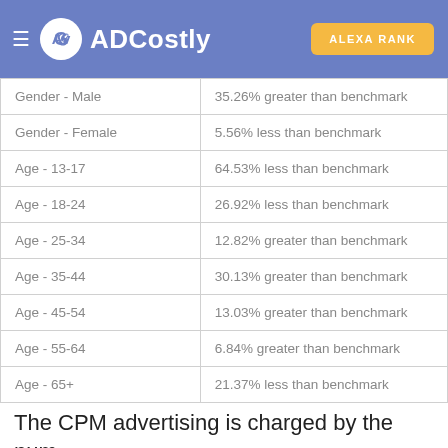ADCostly | ALEXA RANK
| Gender - Male | 35.26% greater than benchmark |
| Gender - Female | 5.56% less than benchmark |
| Age - 13-17 | 64.53% less than benchmark |
| Age - 18-24 | 26.92% less than benchmark |
| Age - 25-34 | 12.82% greater than benchmark |
| Age - 35-44 | 30.13% greater than benchmark |
| Age - 45-54 | 13.03% greater than benchmark |
| Age - 55-64 | 6.84% greater than benchmark |
| Age - 65+ | 21.37% less than benchmark |
The CPM advertising is charged by the number of impressions, so the cost of CPM advertising